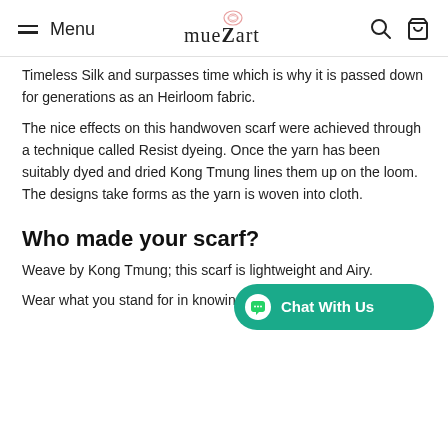Menu | mueZart | [search icon] [cart icon]
Timeless Silk and surpasses time which is why it is passed down for generations as an Heirloom fabric.
The nice effects on this handwoven scarf were achieved through a technique called Resist dyeing. Once the yarn has been suitably dyed and dried Kong Tmung lines them up on the loom. The designs take forms as the yarn is woven into cloth.
Who made your scarf?
Weave by Kong Tmung; this scarf is lightweight and Airy.
Wear what you stand for in knowing th... from 100% sustainable fibers and handcrafted for...